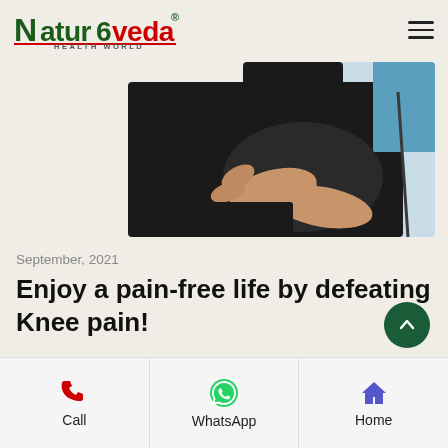Naturoveda Health World
[Figure (photo): Person holding their knee in pain, wearing black pants and a blue top, white background on left]
September, 2021
Enjoy a pain-free life by defeating Knee pain!
Call | WhatsApp | Home